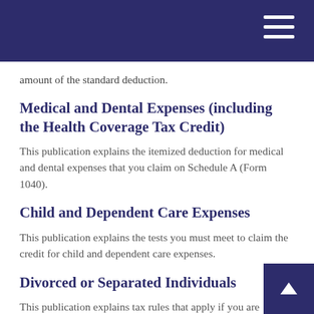amount of the standard deduction.
Medical and Dental Expenses (including the Health Coverage Tax Credit)
This publication explains the itemized deduction for medical and dental expenses that you claim on Schedule A (Form 1040).
Child and Dependent Care Expenses
This publication explains the tests you must meet to claim the credit for child and dependent care expenses.
Divorced or Separated Individuals
This publication explains tax rules that apply if you are divorced or separated from your spouse.
Charitable Contributions